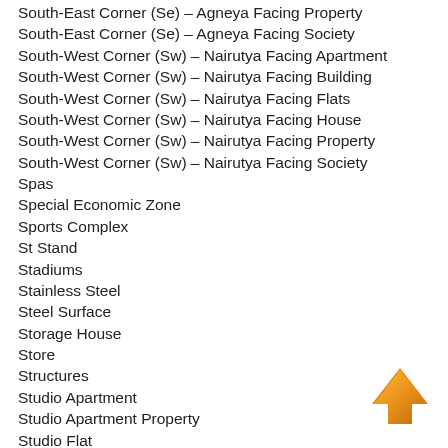South-East Corner (Se) – Agneya Facing Property
South-East Corner (Se) – Agneya Facing Society
South-West Corner (Sw) – Nairutya Facing Apartment
South-West Corner (Sw) – Nairutya Facing Building
South-West Corner (Sw) – Nairutya Facing Flats
South-West Corner (Sw) – Nairutya Facing House
South-West Corner (Sw) – Nairutya Facing Property
South-West Corner (Sw) – Nairutya Facing Society
Spas
Special Economic Zone
Sports Complex
St Stand
Stadiums
Stainless Steel
Steel Surface
Storage House
Store
Structures
Studio Apartment
Studio Apartment Property
Studio Flat
[Figure (illustration): Orange upward-pointing arrow button in bottom-right corner]